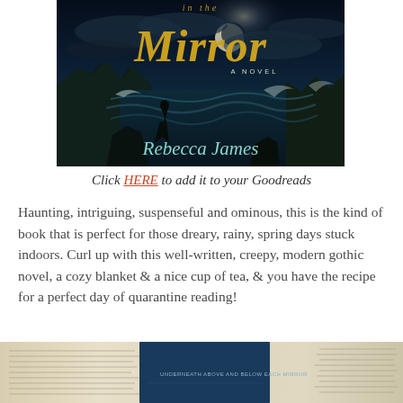[Figure (illustration): Book cover for a novel titled 'Mirror' (partial title visible as 'in the Mirror') by Rebecca James. Dark gothic cover with stormy seascape, crashing waves, rocky cliffs, moonlit sky, and a silhouetted female figure standing on rocks. Title in gold italic script, author name in teal cursive, subtitle 'A Novel' in small caps.]
Click HERE to add it to your Goodreads
Haunting, intriguing, suspenseful and ominous, this is the kind of book that is perfect for those dreary, rainy, spring days stuck indoors. Curl up with this well-written, creepy, modern gothic novel, a cozy blanket & a nice cup of tea, & you have the recipe for a perfect day of quarantine reading!
[Figure (photo): Photo of open books laid on a surface, with a dark blue book cover visible in the center showing text. Books are open with visible text pages.]